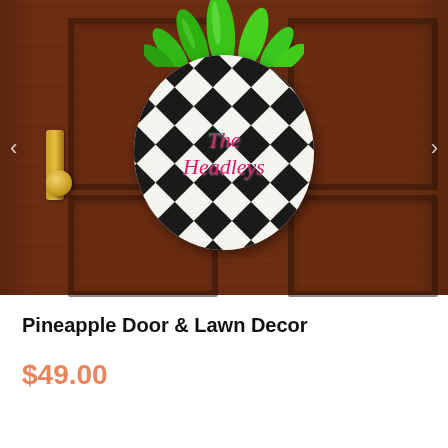[Figure (photo): A pineapple-shaped door hanger sign with black and white checker pattern on an oval wooden body, green leaves on top, and 'The Headleys' written in pink italic script in the center. The sign is hanging on a dark brown wooden front door with a gold door knob visible on the left. Navigation arrows appear on the left and right sides of the image.]
Pineapple Door & Lawn Decor
$49.00